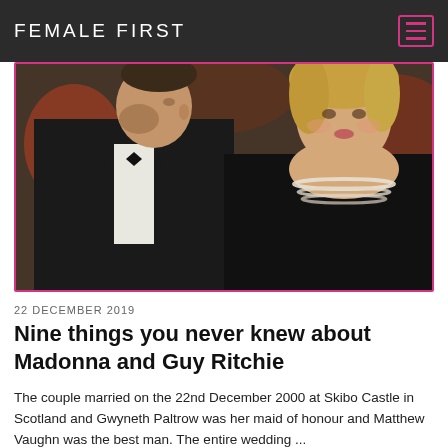FEMALE FIRST
[Figure (photo): A man in a black tuxedo with bow tie and a blonde woman in a black dress with pearl necklace, photographed at a formal event with photographers in the background.]
22 DECEMBER 2019
Nine things you never knew about Madonna and Guy Ritchie
The couple married on the 22nd December 2000 at Skibo Castle in Scotland and Gwyneth Paltrow was her maid of honour and Matthew Vaughn was the best man. The entire wedding ...